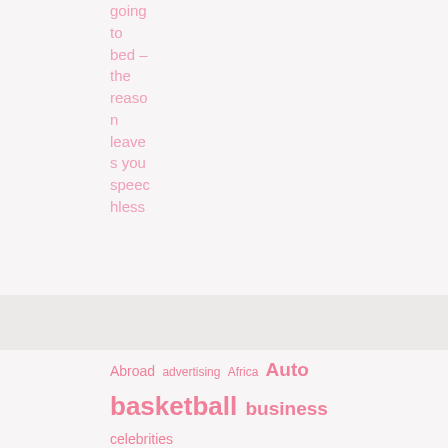going to bed – the reason leaves you speechless
Abroad advertising Africa Auto basketball business celebrities China coronavirus Corona Virus